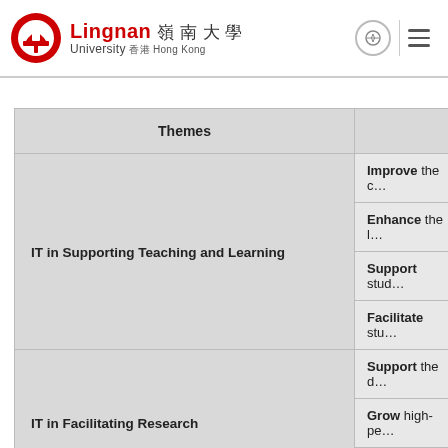Lingnan University 嶺南大學 Hong Kong
| Themes | Goals (truncated/partially visible) |
| --- | --- |
| IT in Supporting Teaching and Learning | Improve the ... |
| IT in Supporting Teaching and Learning | Enhance the ... |
| IT in Supporting Teaching and Learning | Support stud... |
| IT in Supporting Teaching and Learning | Facilitate stu... |
| IT in Facilitating Research | Support the d... |
| IT in Facilitating Research | Grow high-pe... |
| IT in Facilitating Research | *Support em... |
| (third section partially visible) | Continue to c... |